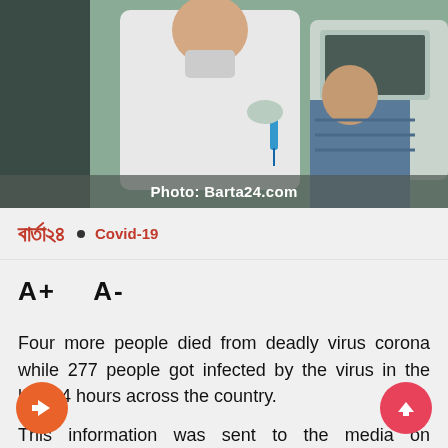[Figure (photo): A person in a white coat administering a vaccine or injection to someone near a car, with a blue syringe visible. Photo credit: Barta24.com]
Photo: Barta24.com
বার্তা২৪ • Covid-19
A+   A-
Four more people died from deadly virus corona while 277 people got infected by the virus in the last 24 hours across the country.
This information was sent to the media on Wednesday (December 6) by DGHS through a press release.
According to the press release, the latest